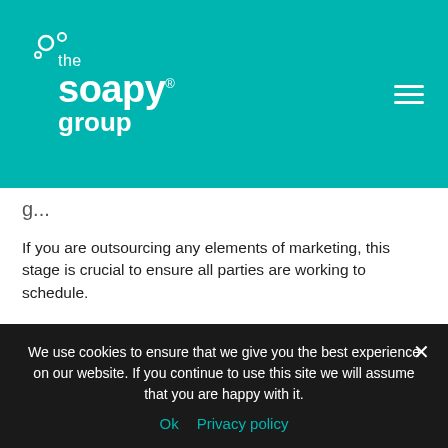[Figure (logo): The Soapy Group logo in white on teal background with hamburger menu icon]
g...
If you are outsourcing any elements of marketing, this stage is crucial to ensure all parties are working to schedule.
Sound like too much work? For more information about how we can help with your marketing strategy, get in touch with our experts.
We use cookies to ensure that we give you the best experience on our website. If you continue to use this site we will assume that you are happy with it.
Ok   Privacy policy